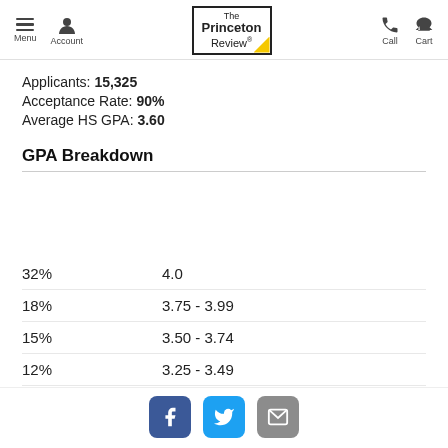Menu | Account | The Princeton Review | Call | Cart
Applicants: 15,325
Acceptance Rate: 90%
Average HS GPA: 3.60
GPA Breakdown
| Percentage | GPA Range |
| --- | --- |
| 32% | 4.0 |
| 18% | 3.75 - 3.99 |
| 15% | 3.50 - 3.74 |
| 12% | 3.25 - 3.49 |
| 9% | 3.00 - 3.24 |
Facebook | Twitter | Email